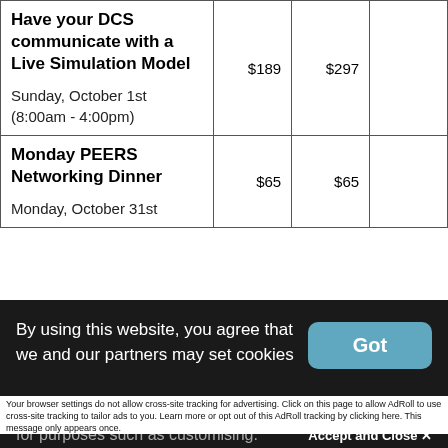|  |  |  |  |
| --- | --- | --- | --- |
| Have your DCS communicate with a Live Simulation Model
Sunday, October 1st
(8:00am - 4:00pm) | $189 | $297 |  |
| Monday PEERS Networking Dinner
Monday, October 31st | $65 | $65 |  |
By using this website, you agree that we and our partners may set cookies for purposes such as customising.
Accept and Close ✕
Your browser settings do not allow cross-site tracking for advertising. Click on this page to allow AdRoll to use cross-site tracking to tailor ads to you. Learn more or opt out of this AdRoll tracking by clicking here. This message only appears once.